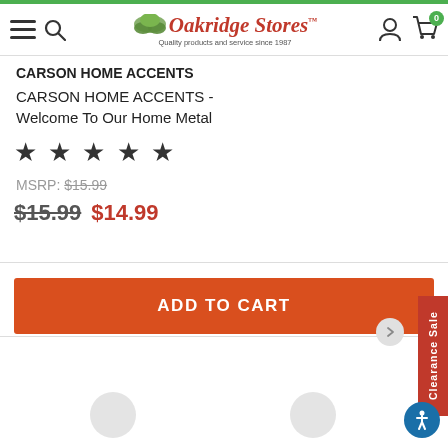Oakridge Stores - Quality products and service since 1987
CARSON HOME ACCENTS
CARSON HOME ACCENTS - Welcome To Our Home Metal
★★★★★
MSRP: $15.99
$15.99  $14.99
ADD TO CART
Clearance Sale